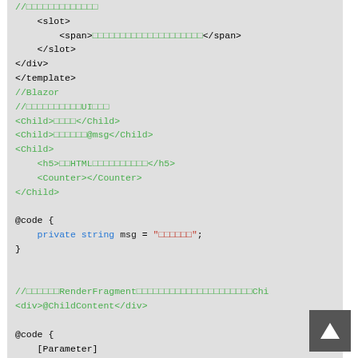[Figure (screenshot): Code block showing Blazor/Vue-like template code with comments in Japanese, HTML tags in green, keywords in blue, and string values in red. Contains slot/div/template markup, Child component usage, @code block with private string msg, and RenderFragment/ChildContent references.]